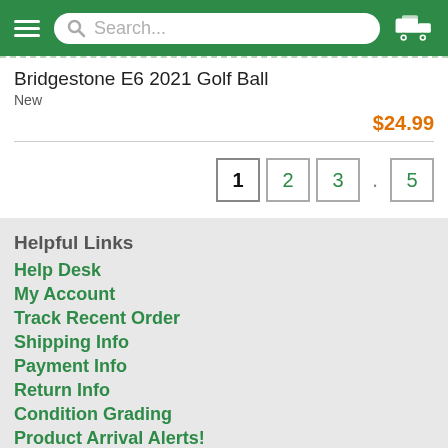Search... [navigation bar with hamburger menu, search box, and cart icon]
Bridgestone E6 2021 Golf Ball
New
$24.99
1 2 3 . 5
Helpful Links
Help Desk
My Account
Track Recent Order
Shipping Info
Payment Info
Return Info
Condition Grading
Product Arrival Alerts!